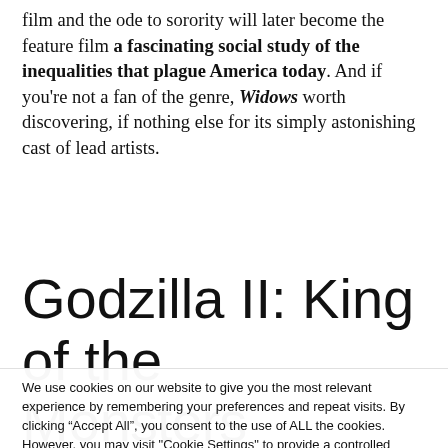film and the ode to sorority will later become the feature film a fascinating social study of the inequalities that plague America today. And if you’re not a fan of the genre, Widows worth discovering, if nothing else for its simply astonishing cast of lead artists.
Godzilla II: King of the Monsters
We use cookies on our website to give you the most relevant experience by remembering your preferences and repeat visits. By clicking “Accept All”, you consent to the use of ALL the cookies. However, you may visit "Cookie Settings" to provide a controlled consent.